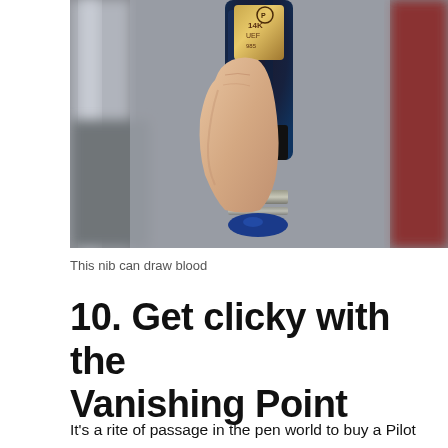[Figure (photo): Close-up photograph of a hand holding a Pilot fountain pen nib section. The nib is gold with '14K UEF' markings visible. The pen body is dark blue/black with a metallic trim ring at the bottom. The background is blurred showing other pens.]
This nib can draw blood
10. Get clicky with the Vanishing Point
It's a rite of passage in the pen world to buy a Pilot